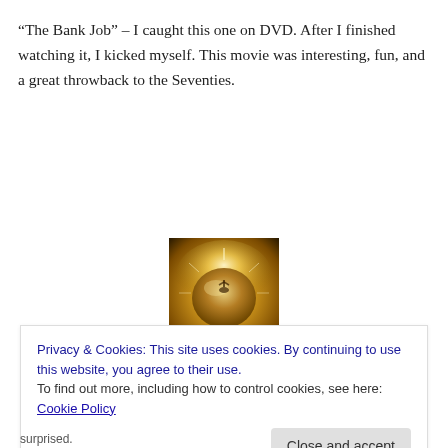“The Bank Job” – I caught this one on DVD. After I finished watching it, I kicked myself. This movie was interesting, fun, and a great throwback to the Seventies.
[Figure (photo): Golden glowing circular emblem or logo with a figure, against a bright starburst background]
Privacy & Cookies: This site uses cookies. By continuing to use this website, you agree to their use.
To find out more, including how to control cookies, see here: Cookie Policy
Close and accept
surprised.